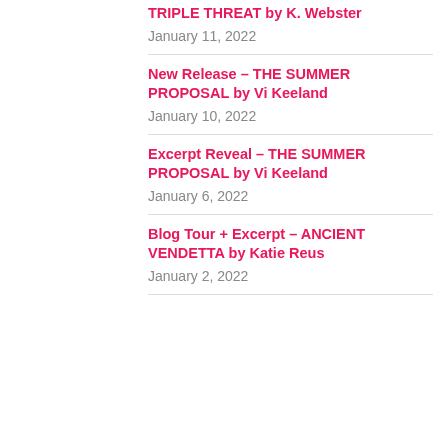TRIPLE THREAT by K. Webster
January 11, 2022
New Release – THE SUMMER PROPOSAL by Vi Keeland
January 10, 2022
Excerpt Reveal – THE SUMMER PROPOSAL by Vi Keeland
January 6, 2022
Blog Tour + Excerpt – ANCIENT VENDETTA by Katie Reus
January 2, 2022